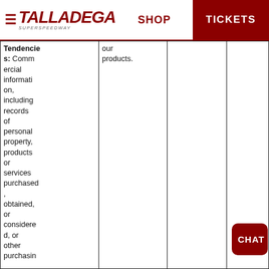SHOP | TICKETS
| Tendencies |  |  |  |  |
| --- | --- | --- | --- | --- |
| Tendencies: Commercial information, including records of personal property, products or services purchased, obtained, or considered, or other purchasin | our products. |  |  | ders · affiliates and subsidiaries |